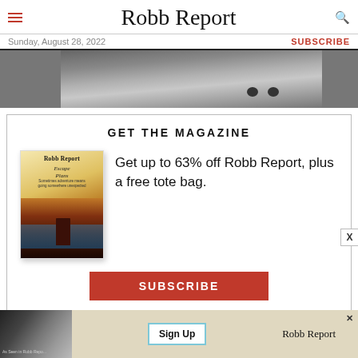Robb Report
Sunday, August 28, 2022
SUBSCRIBE
[Figure (photo): Black and white aerial photograph of an airfield/runway with small aircraft visible]
GET THE MAGAZINE
[Figure (illustration): Robb Report magazine cover showing 'Escape Plans' issue with illustrated person fly-fishing in scenic landscape]
Get up to 63% off Robb Report, plus a free tote bag.
SUBSCRIBE
[Figure (infographic): Bottom advertisement banner for Robb Report with Sign Up call to action, showing a man in suit with Robb Report logo]